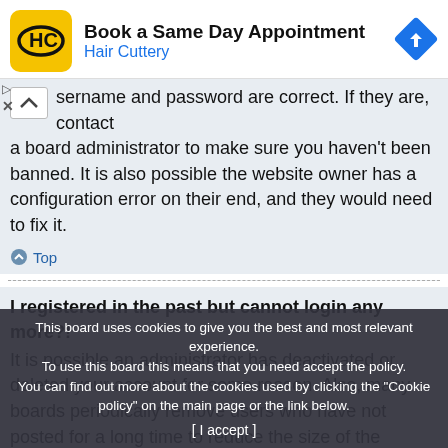[Figure (screenshot): Hair Cuttery advertisement banner: yellow rounded logo with HC letters, title 'Book a Same Day Appointment', subtitle 'Hair Cuttery' in blue, blue diamond navigation arrow on right]
sername and password are correct. If they are, contact a board administrator to make sure you haven't been banned. It is also possible the website owner has a configuration error on their end, and they would need to fix it.
Top
I registered in the past but cannot login any more?!
It is possible an administrator has deactivated or deleted your account for some reason. Also, many boards periodically remove users who have not posted for a long time to reduce the size of the database. If this has happened, you can register again and doing more involved in di you can
Top
This board uses cookies to give you the best and most relevant experience. To use this board this means that you need accept the policy. You can find out more about the cookies used by clicking the "Cookie policy" on the main page or the link below.
[ I accept ]